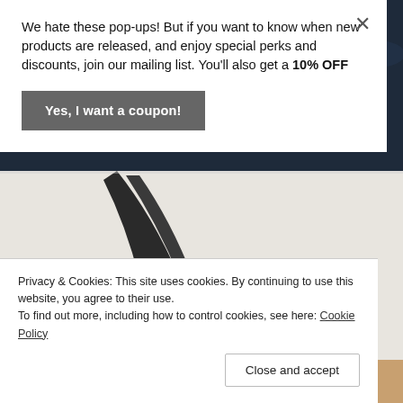We hate these pop-ups! But if you want to know when new products are released, and enjoy special perks and discounts, join our mailing list. You'll also get a 10% OFF
Yes, I want a coupon!
[Figure (photo): Dark navy blue background with water droplets, transitioning to a light gray/white surface with a dark circular object (knife or blade edge visible), and a partial view of a hand at the very bottom]
Privacy & Cookies: This site uses cookies. By continuing to use this website, you agree to their use.
To find out more, including how to control cookies, see here: Cookie Policy
Close and accept